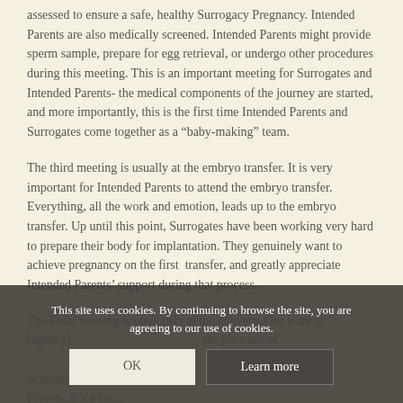assessed to ensure a safe, healthy Surrogacy Pregnancy. Intended Parents are also medically screened. Intended Parents might provide sperm sample, prepare for egg retrieval, or undergo other procedures during this meeting. This is an important meeting for Surrogates and Intended Parents- the medical components of the journey are started, and more importantly, this is the first time Intended Parents and Surrogates come together as a “baby-making” team.
The third meeting is usually at the embryo transfer. It is very important for Intended Parents to attend the embryo transfer. Everything, all the work and emotion, leads up to the embryo transfer. Up until this point, Surrogates have been working very hard to prepare their body for implantation. They genuinely want to achieve pregnancy on the first transfer, and greatly appreciate Intended Parents’ support during that process.
The Final meeting is obviously at the delivery. Our team at [agency] has the honor of witnessing the story of Surrogates and Intended Parents. It’s a beautiful...
This site uses cookies. By continuing to browse the site, you are agreeing to our use of cookies.